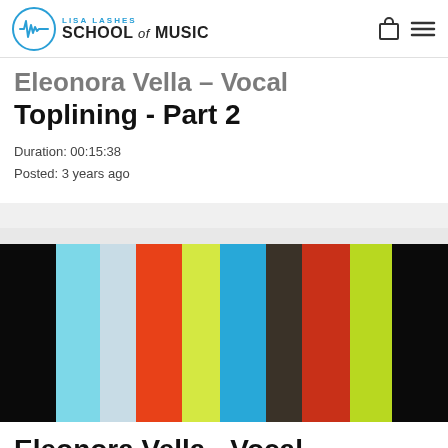Lisa Lashes School of Music
Eleonora Vella - Vocal Toplining - Part 2
Duration: 00:15:38
Posted: 3 years ago
[Figure (illustration): Color test bars image with vertical stripes of various colors: black, cyan, light blue, orange-red, yellow-green, sky blue, dark brown, red-orange, yellow-green, black]
Eleonora Vella - Vocal Toplining - Part 3